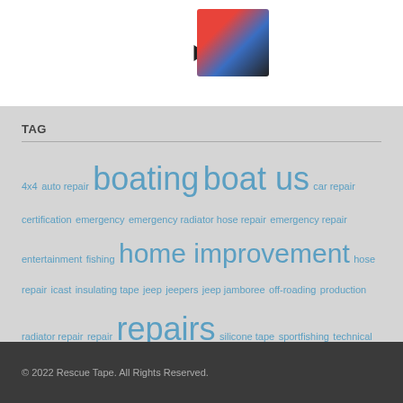[Figure (illustration): Partial product image showing an arrow and DVD/tape product at top of page]
TAG
4x4 auto repair boating boat us car repair certification emergency emergency radiator hose repair emergency repair entertainment fishing home improvement hose repair icast insulating tape jeep jeepers jeep jamboree off-roading production radiator repair repair repairs silicone tape sportfishing technical tips tom neale trail ul 510 standard ul listed usitt waterproof
© 2022 Rescue Tape. All Rights Reserved.